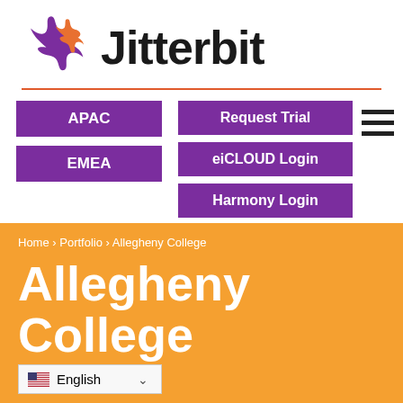[Figure (logo): Jitterbit logo with purple and orange star/connector icon and bold black 'Jitterbit' wordmark]
APAC
Request Trial
EMEA
eiCLOUD Login
Harmony Login
Home › Portfolio › Allegheny College
Allegheny College
English